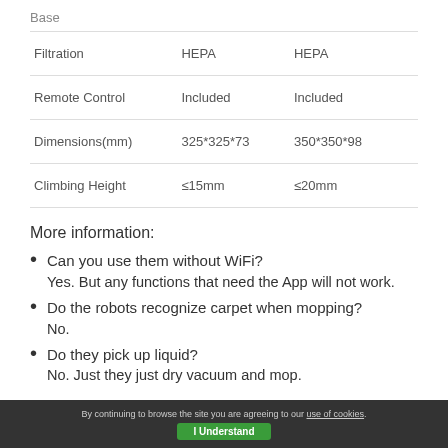Base
|  |  |  |
| --- | --- | --- |
| Filtration | HEPA | HEPA |
| Remote Control | Included | Included |
| Dimensions(mm) | 325*325*73 | 350*350*98 |
| Climbing Height | ≤15mm | ≤20mm |
More information:
Can you use them without WiFi?
Yes. But any functions that need the App will not work.
Do the robots recognize carpet when mopping?
No.
Do they pick up liquid?
No. Just they just dry vacuum and mop.
By continuing to browse the site you are agreeing to our use of cookies. I Understand